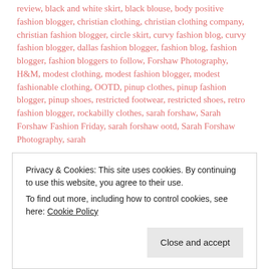review, black and white skirt, black blouse, body positive fashion blogger, christian clothing, christian clothing company, christian fashion blogger, circle skirt, curvy fashion blog, curvy fashion blogger, dallas fashion blogger, fashion blog, fashion blogger, fashion bloggers to follow, Forshaw Photography, H&M, modest clothing, modest fashion blogger, modest fashionable clothing, OOTD, pinup clothes, pinup fashion blogger, pinup shoes, restricted footwear, restricted shoes, retro fashion blogger, rockabilly clothes, sarah forshaw, Sarah Forshaw Fashion Friday, sarah forshaw ootd, Sarah Forshaw Photography, sarah
Privacy & Cookies: This site uses cookies. By continuing to use this website, you agree to their use. To find out more, including how to control cookies, see here: Cookie Policy
Close and accept